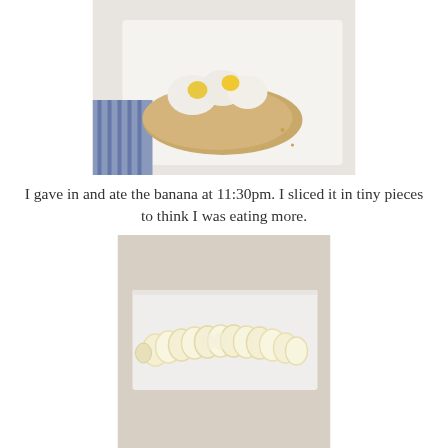[Figure (photo): Photo of food on a white plate — appears to be toast or bread topped with egg and other ingredients, with blue striped napkin or cloth visible underneath.]
I gave in and ate the banana at 11:30pm. I sliced it in tiny pieces to think I was eating more.
[Figure (photo): Photo of a banana sliced into many thin round pieces arranged in a row on a white surface or paper towel.]